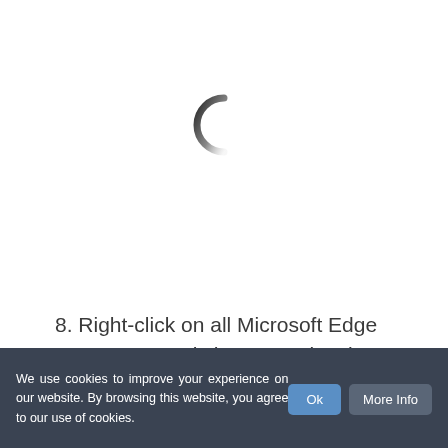[Figure (other): A loading spinner icon (curved arc, partially visible C-shape) indicating loading state]
8. Right-click on all Microsoft Edge processes, and choose End task.
(Method 2)
Before you proceed with this method, b... (partially obscured)
We use cookies to improve your experience on our website. By browsing this website, you agree to our use of cookies.
Ok
More Info